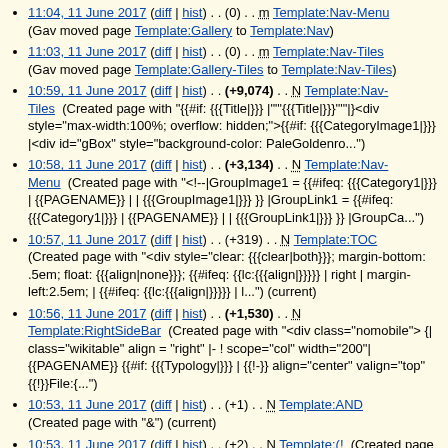11:04, 11 June 2017 (diff | hist) . . (0) . . m Template:Nav-Menu (Gav moved page Template:Gallery to Template:Nav)
11:03, 11 June 2017 (diff | hist) . . (0) . . m Template:Nav-Tiles (Gav moved page Template:Gallery-Tiles to Template:Nav-Tiles)
10:59, 11 June 2017 (diff | hist) . . (+9,074) . . N Template:Nav-Tiles (Created page with "{{#if: {{{Title|}}} |""'{{{Title|}}}'""|}<div style="max-width:100%; overflow: hidden;">{{#if: {{{CategoryImage1|}}} |<div id="gBox" style="background-color: PaleGoldenro...")
10:58, 11 June 2017 (diff | hist) . . (+3,134) . . N Template:Nav-Menu (Created page with "<!--| GroupImage1 = {{#ifeq: {{{Category1|}}} | {{PAGENAME}} | | {{{GroupImage1|}}} }} |GroupLink1 = {{#ifeq: {{{Category1|}}} | {{PAGENAME}} | | {{{GroupLink1|}}} }} |GroupCa...")
10:57, 11 June 2017 (diff | hist) . . (+319) . . N Template:TOC (Created page with "<div style="clear: {{{clear|both}}}; margin-bottom: .5em; float: {{{align|none}}}; {{#ifeq: {{lc:{{{align|}}}}} | right | margin-left:2.5em; | {{#ifeq: {{lc:{{{align|}}}}} | l...") (current)
10:56, 11 June 2017 (diff | hist) . . (+1,530) . . N Template:RightSideBar (Created page with "<div class="nomobile"> {| class="wikitable" align = "right" |- ! scope="col" width="200"|{{PAGENAME}} {{#if: {{{Typology|}}} | {{!-}} align="center" valign="top" {{!}}File:{...")
10:53, 11 June 2017 (diff | hist) . . (+1) . . N Template:AND (Created page with "&") (current)
10:53, 11 June 2017 (diff | hist) . . (+2) . . N Template:(! (Created page with "{|") (current)
10:53, 11 June 2017 (diff | hist) . . (+2) . . N Template:!) (Created page